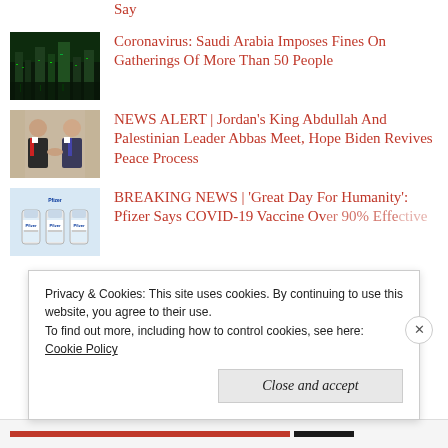Say
Coronavirus: Saudi Arabia Imposes Fines On Gatherings Of More Than 50 People
NEWS ALERT | Jordan's King Abdullah And Palestinian Leader Abbas Meet, Hope Biden Revives Peace Process
BREAKING NEWS | 'Great Day For Humanity': Pfizer Says COVID-19 Vaccine Over 90% Effective
Privacy & Cookies: This site uses cookies. By continuing to use this website, you agree to their use.
To find out more, including how to control cookies, see here:
Cookie Policy
Close and accept